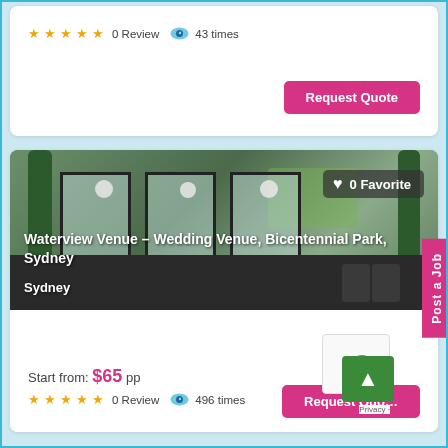0 Review  43 times
Request Quote
[Figure (photo): Wedding venue interior photo showing glass windows, hanging globe lights, dark floor, green plants/vines on pillars, and lawn visible outside. Overlay shows '0 Favorite' badge and venue title 'Waterview Venue – Wedding Venue, Bicentennial Park, Sydney' with location 'Sydney']
Start from: $65 pp
0 Review  496 times
Request Quote